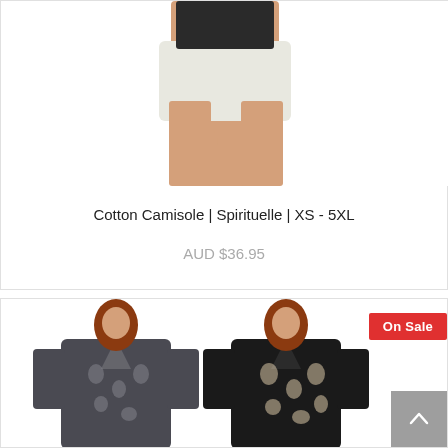[Figure (photo): A woman wearing light grey shorts and a dark top, cropped at waist level, showing legs and hands on thighs against a white background.]
Cotton Camisole | Spirituelle | XS - 5XL
AUD $36.95
On Sale
[Figure (photo): Two women with red hair wearing patterned long-sleeve tops — one in dark grey/charcoal damask print, one in black and beige damask print — photographed against a white background.]